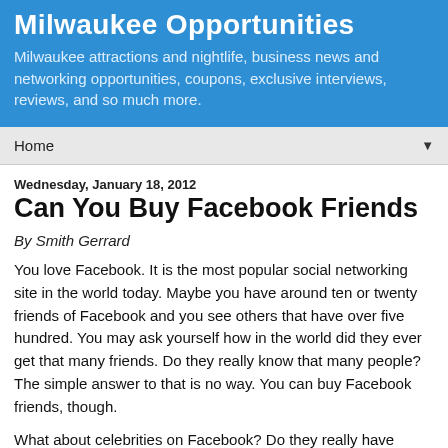Milwaukee Opportunities
Milwaukee attractions and nightlife, business news and networking opportunities, coupons, exclusive interviews, reviews, and so much more.
Home
Wednesday, January 18, 2012
Can You Buy Facebook Friends
By Smith Gerrard
You love Facebook. It is the most popular social networking site in the world today. Maybe you have around ten or twenty friends of Facebook and you see others that have over five hundred. You may ask yourself how in the world did they ever get that many friends. Do they really know that many people? The simple answer to that is no way. You can buy Facebook friends, though.
What about celebrities on Facebook? Do they really have